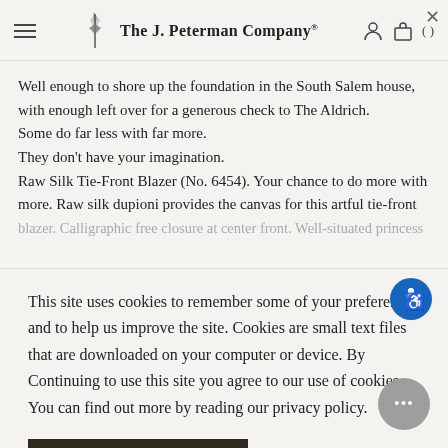The J. Peterman Company
Well enough to shore up the foundation in the South Salem house, with enough left over for a generous check to The Aldrich.
Some do far less with far more.
They don't have your imagination.
Raw Silk Tie-Front Blazer (No. 6454). Your chance to do more with more. Raw silk dupioni provides the canvas for this artful tie-front blazer. Calligraphic free closure at center front. Well-situated princess...
This site uses cookies to remember some of your preferences and to help us improve the site. Cookies are small text files that are downloaded on your computer or device. By Continuing to use this site you agree to our use of cookies. You can find out more by reading our privacy policy.
Continue